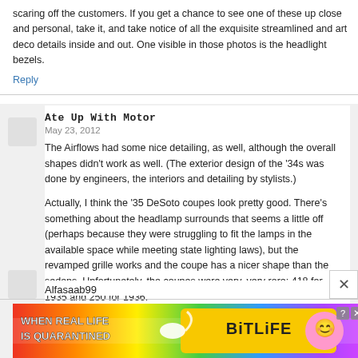scaring off the customers. If you get a chance to see one of these up close and personal, take it, and take notice of all the exquisite streamlined and art deco details inside and out. One visible in those photos is the headlight bezels.
Reply
Ate Up With Motor
May 23, 2012
The Airflows had some nice detailing, as well, although the overall shapes didn't work as well. (The exterior design of the '34s was done by engineers, the interiors and detailing by stylists.)
Actually, I think the '35 DeSoto coupes look pretty good. There's something about the headlamp surrounds that seems a little off (perhaps because they were struggling to fit the lamps in the available space while meeting state lighting laws), but the revamped grille works and the coupe has a nicer shape than the sedans. Unfortunately, the coupes were very, very rare: 418 for 1935 and 250 for 1936.
Reply
Alfasaab99
[Figure (photo): Advertisement banner: 'WHEN REAL LIFE IS QUARANTINED' with BitLife branding, rainbow background, emoji characters with masks]